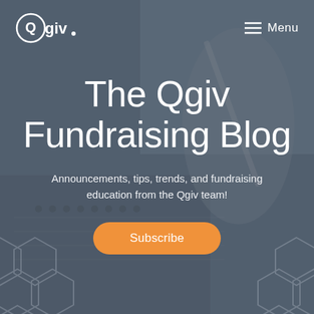[Figure (screenshot): Hero background image: blurred photo of a person writing in a notebook, overlaid with dark blue-grey translucent overlay]
Qgiv | Menu
The Qgiv Fundraising Blog
Announcements, tips, trends, and fundraising education from the Qgiv team!
Subscribe